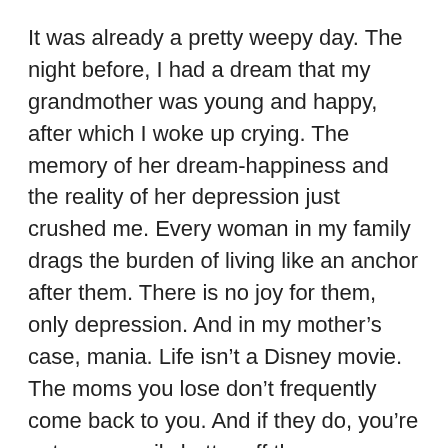It was already a pretty weepy day. The night before, I had a dream that my grandmother was young and happy, after which I woke up crying. The memory of her dream-happiness and the reality of her depression just crushed me. Every woman in my family drags the burden of living like an anchor after them. There is no joy for them, only depression. And in my mother's case, mania. Life isn't a Disney movie. The moms you lose don't frequently come back to you. And if they do, you're not necessarily better off than you were when they were gone.
Someday I want to be able to look at the bombed out shell of my mother and not have it cut me apart on the inside. Someday, I want to stop questioning if I imagined her ever not sucking. Someday, I want to be see the full moon, eat a fresh tomato, or smell a rose